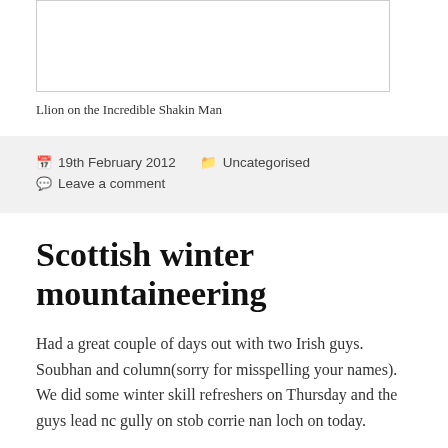[Figure (other): Empty comment text input box with border]
Llion on the Incredible Shakin Man
📅 19th February 2012  🗂 Uncategorised
💬 Leave a comment
Scottish winter mountaineering
Had a great couple of days out with two Irish guys. Soubhan and column(sorry for misspelling your names). We did some winter skill refreshers on Thursday and the guys lead nc gully on stob corrie nan loch on today.